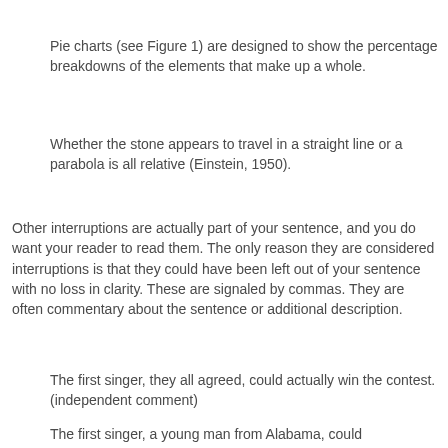Pie charts (see Figure 1) are designed to show the percentage breakdowns of the elements that make up a whole.
Whether the stone appears to travel in a straight line or a parabola is all relative (Einstein, 1950).
Other interruptions are actually part of your sentence, and you do want your reader to read them. The only reason they are considered interruptions is that they could have been left out of your sentence with no loss in clarity. These are signaled by commas. They are often commentary about the sentence or additional description.
The first singer, they all agreed, could actually win the contest. (independent comment)
The first singer, a young man from Alabama, could